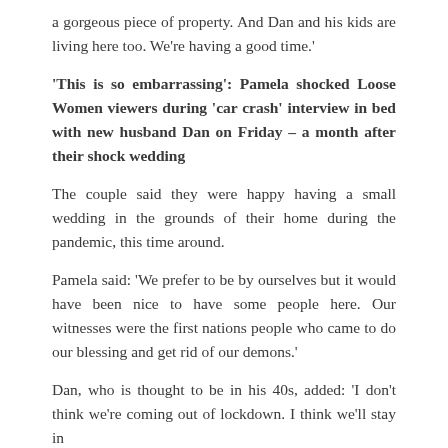a gorgeous piece of property. And Dan and his kids are living here too. We're having a good time.'
'This is so embarrassing': Pamela shocked Loose Women viewers during 'car crash' interview in bed with new husband Dan on Friday – a month after their shock wedding
The couple said they were happy having a small wedding in the grounds of their home during the pandemic, this time around.
Pamela said: 'We prefer to be by ourselves but it would have been nice to have some people here. Our witnesses were the first nations people who came to do our blessing and get rid of our demons.'
Dan, who is thought to be in his 40s, added: 'I don't think we're coming out of lockdown. I think we'll stay in